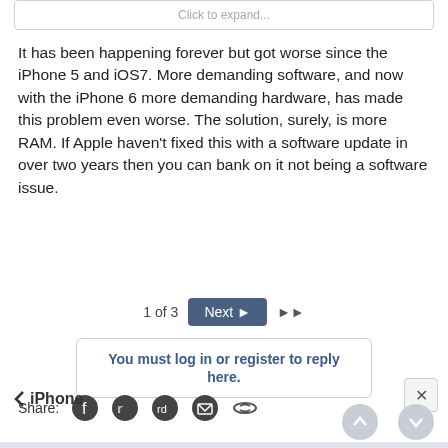Click to expand...
It has been happening forever but got worse since the iPhone 5 and iOS7. More demanding software, and now with the iPhone 6 more demanding hardware, has made this problem even worse. The solution, surely, is more RAM. If Apple haven't fixed this with a software update in over two years then you can bank on it not being a software issue.
1 of 3  Next  ▶▶
You must log in or register to reply here.
Share:
< iPhone
×